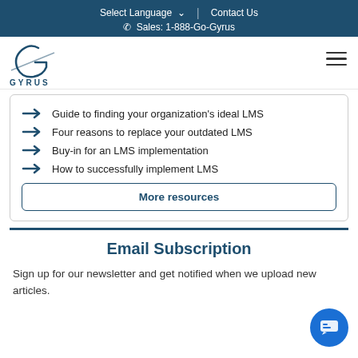Select Language  |  Contact Us
Sales: 1-888-Go-Gyrus
[Figure (logo): Gyrus logo — stylized G with swoosh and text GYRUS below]
Guide to finding your organization's ideal LMS
Four reasons to replace your outdated LMS
Buy-in for an LMS implementation
How to successfully implement LMS
More resources
Email Subscription
Sign up for our newsletter and get notified when we upload new articles.